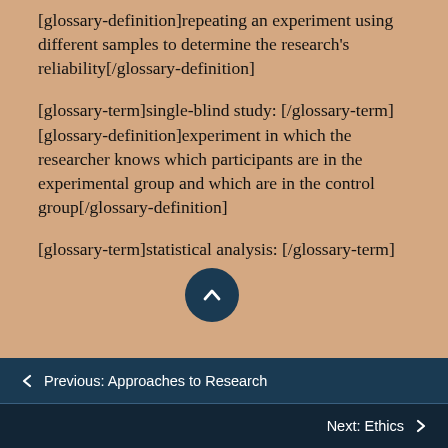[glossary-definition]repeating an experiment using different samples to determine the research's reliability[/glossary-definition]
[glossary-term]single-blind study:[/glossary-term] [glossary-definition]experiment in which the researcher knows which participants are in the experimental group and which are in the control group[/glossary-definition]
[glossary-term]statistical analysis:[/glossary-term]
← Previous: Approaches to Research
Next: Ethics →